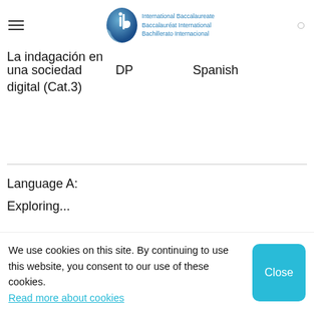International Baccalaureate Baccalauréat International Bachillerato Internacional
La indagación en una sociedad digital (Cat.3)    DP    Spanish
Language A:
Exploring...
We use cookies on this site. By continuing to use this website, you consent to our use of these cookies. Read more about cookies